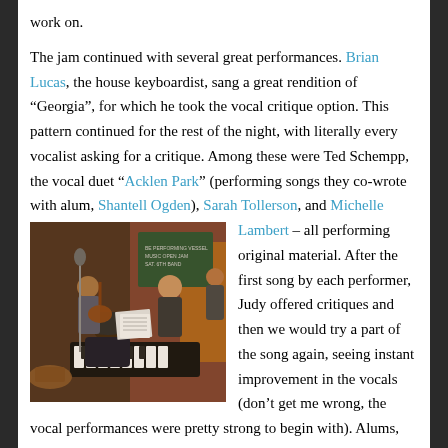work on.
The jam continued with several great performances. Brian Lucas, the house keyboardist, sang a great rendition of “Georgia”, for which he took the vocal critique option. This pattern continued for the rest of the night, with literally every vocalist asking for a critique. Among these were Ted Schempp, the vocal duet “Acklen Park” (performing songs they co-wrote with alum, Shantell Ogden), Sarah Tollerson, and Michelle Lambert – all performing original material. After the first song by each performer, Judy offered critiques and then we would try a part of the song again, seeing instant improvement in the vocals (don’t get me wrong, the vocal performances were pretty strong to begin with). Alums, Elton Charles on drums and Rick Carizales on guitar, also sat in and did a fine job backing up
[Figure (photo): Musicians performing at a venue. A person playing keyboard is in the foreground, with other musicians playing guitar and other instruments in the background. A chalkboard sign is visible on the wall.]